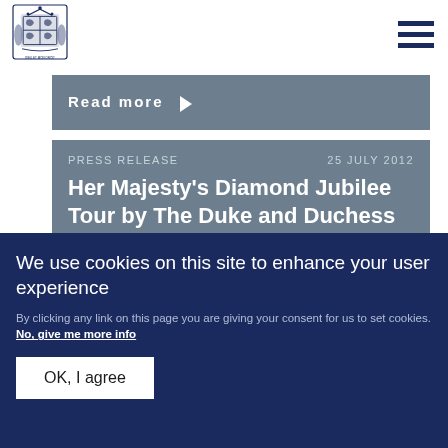[Figure (logo): UK Royal coat of arms logo in dark blue]
Read more ▶
PRESS RELEASE    25 JULY 2012
Her Majesty's Diamond Jubilee Tour by The Duke and Duchess of Cambridge
Read more ▶
We use cookies on this site to enhance your user experience
By clicking any link on this page you are giving your consent for us to set cookies. No, give me more info
OK, I agree